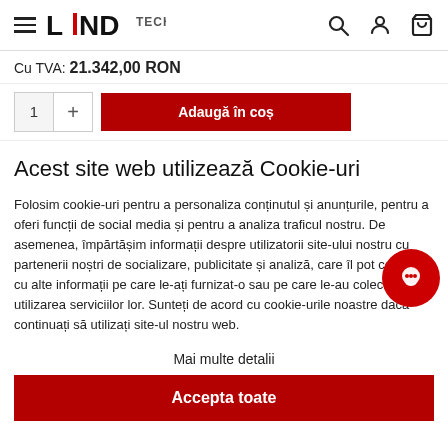LEAD TECH — navigation header with hamburger menu, search, account, and cart icons
Cu TVA: 21.342,00 RON
[Figure (screenshot): Add to cart row with quantity selector and red add-to-cart button]
Acest site web utilizează Cookie-uri
Folosim cookie-uri pentru a personaliza conținutul și anunțurile, pentru a oferi funcții de social media și pentru a analiza traficul nostru. De asemenea, împărtășim informații despre utilizatorii site-ului nostru cu partenerii noștri de socializare, publicitate și analiză, care îl pot combina cu alte informații pe care le-ați furnizat-o sau pe care le-au colectat din utilizarea serviciilor lor. Sunteți de acord cu cookie-urile noastre dacă continuați să utilizați site-ul nostru web.
Mai multe detalii
Accepta toate